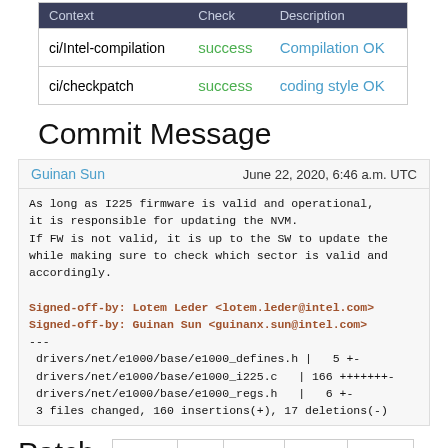| Context | Check | Description |
| --- | --- | --- |
| ci/Intel-compilation | success | Compilation OK |
| ci/checkpatch | success | coding style OK |
Commit Message
Guinan Sun
June 22, 2020, 6:46 a.m. UTC
As long as I225 firmware is valid and operational,
it is responsible for updating the NVM.
If FW is not valid, it is up to the SW to update the
while making sure to check which sector is valid and
accordingly.

Signed-off-by: Lotem Leder <lotem.leder@intel.com>
Signed-off-by: Guinan Sun <guinanx.sun@intel.com>
---
 drivers/net/e1000/base/e1000_defines.h |   5 +-
 drivers/net/e1000/base/e1000_i225.c   | 166 +++++++-
 drivers/net/e1000/base/e1000_regs.h   |   6 +-
 3 files changed, 160 insertions(+), 17 deletions(-)
Patch
71915  diff  mbox  series  10543